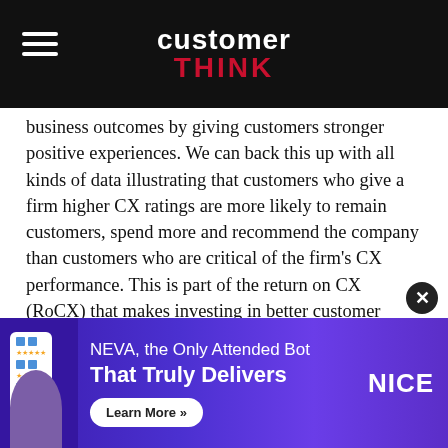customer THINK
business outcomes by giving customers stronger positive experiences. We can back this up with all kinds of data illustrating that customers who give a firm higher CX ratings are more likely to remain customers, spend more and recommend the company than customers who are critical of the firm’s CX performance. This is part of the return on CX (RoCX) that makes investing in better customer experiences good for business.
While it’s much more appealing to focus on the upside opportunity, the flipside presents a corollary that is equally true. There are real downside business risks that can undermine business outcomes by disappointing, angering or frustrating customers with substandard experiences.
[Figure (infographic): Advertisement banner: NEVA, the Only Attended Bot That Truly Delivers. Learn More button. NICE logo.]